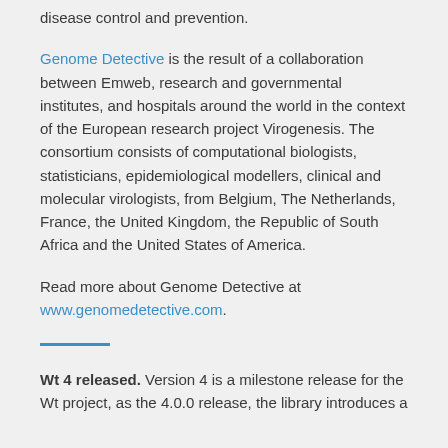disease control and prevention.
Genome Detective is the result of a collaboration between Emweb, research and governmental institutes, and hospitals around the world in the context of the European research project Virogenesis. The consortium consists of computational biologists, statisticians, epidemiological modellers, clinical and molecular virologists, from Belgium, The Netherlands, France, the United Kingdom, the Republic of South Africa and the United States of America.
Read more about Genome Detective at www.genomedetective.com.
Wt 4 released. Version 4 is a milestone release for the Wt project, as the 4.0.0 release, the library introduces a...